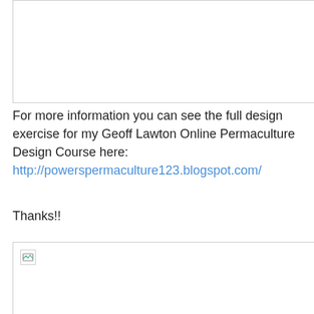[Figure (other): Top image placeholder (broken/missing image), shown as a bordered rectangle with no visible content]
For more information you can see the full design exercise for my Geoff Lawton Online Permaculture Design Course here: http://powerspermaculture123.blogspot.com/
Thanks!!
[Figure (other): Bottom image placeholder (broken/missing image), shown as a bordered rectangle with a broken image icon in the top-left corner]